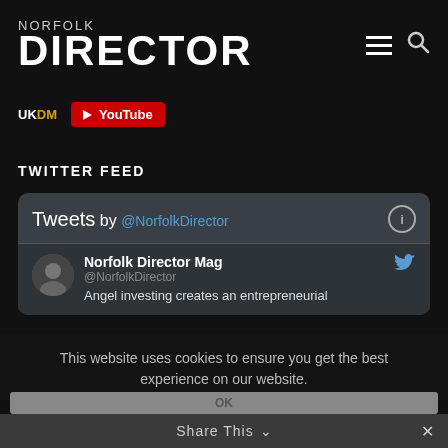NORFOLK DIRECTOR
UKDM  YouTube
TWITTER FEED
[Figure (screenshot): Twitter feed widget showing Tweets by @NorfolkDirector. Tweet from Norfolk Director Mag @NorfolkDirector: Angel investing creates an entrepreneurial]
This website uses cookies to ensure you get the best experience on our website.
OK
Share This ✓  ✕